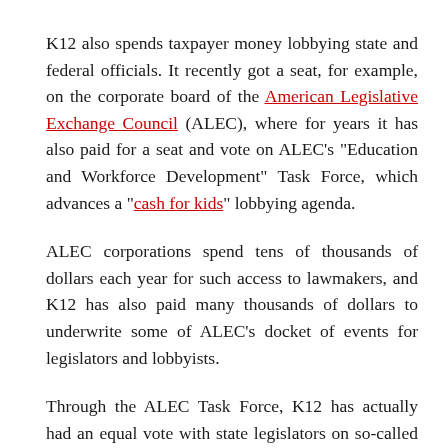K12 also spends taxpayer money lobbying state and federal officials. It recently got a seat, for example, on the corporate board of the American Legislative Exchange Council (ALEC), where for years it has also paid for a seat and vote on ALEC's "Education and Workforce Development" Task Force, which advances a "cash for kids" lobbying agenda.
ALEC corporations spend tens of thousands of dollars each year for such access to lawmakers, and K12 has also paid many thousands of dollars to underwrite some of ALEC's docket of events for legislators and lobbyists.
Through the ALEC Task Force, K12 has actually had an equal vote with state legislators on so-called "model" bills to divert taxpayer funds away from traditional public schools toward the objectives of